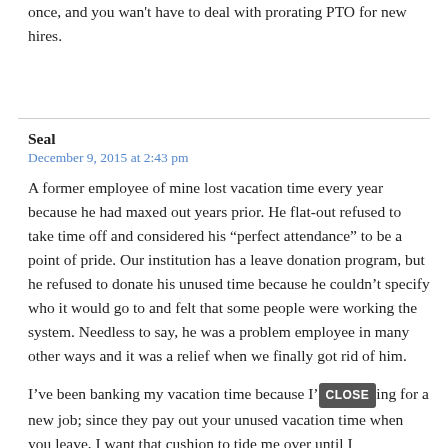once, and you wan't have to deal with prorating PTO for new hires.
Seal
December 9, 2015 at 2:43 pm
A former employee of mine lost vacation time every year because he had maxed out years prior. He flat-out refused to take time off and considered his “perfect attendance” to be a point of pride. Our institution has a leave donation program, but he refused to donate his unused time because he couldn’t specify who it would go to and felt that some people were working the system. Needless to say, he was a problem employee in many other ways and it was a relief when we finally got rid of him.
I’ve been banking my vacation time because I’[CLOSE]ing for a new job; since they pay out your unused vacation time when you leave, I want that cushion to tide me over until I